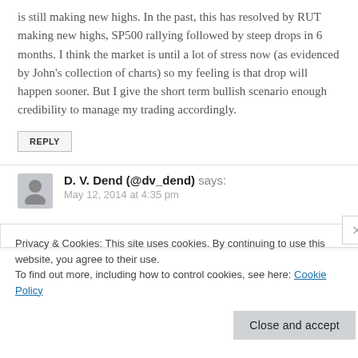is still making new highs. In the past, this has resolved by RUT making new highs, SP500 rallying followed by steep drops in 6 months. I think the market is until a lot of stress now (as evidenced by John’s collection of charts) so my feeling is that drop will happen sooner. But I give the short term bullish scenario enough credibility to manage my trading accordingly.
REPLY
D. V. Dend (@dv_dend) says:
May 12, 2014 at 4:35 pm
Privacy & Cookies: This site uses cookies. By continuing to use this website, you agree to their use.
To find out more, including how to control cookies, see here: Cookie Policy
Close and accept